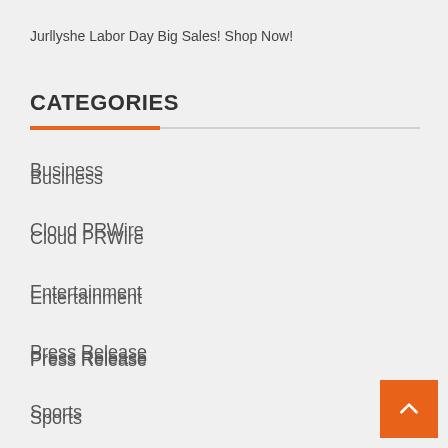Jurllyshe Labor Day Big Sales! Shop Now!
CATEGORIES
Business
Cloud PRWire
Entertainment
Press Release
Sports
Tech
Uncategorized
World